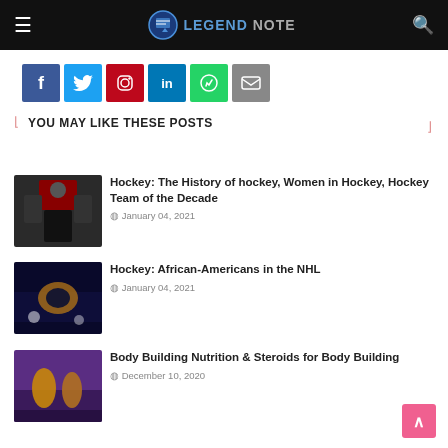Legend Note
[Figure (infographic): Social share buttons: Facebook, Twitter, Pinterest, LinkedIn, WhatsApp, Email]
YOU MAY LIKE THESE POSTS
[Figure (photo): Hockey player with equipment]
Hockey: The History of hockey, Women in Hockey, Hockey Team of the Decade
January 04, 2021
[Figure (photo): Hockey game action shot]
Hockey: African-Americans in the NHL
January 04, 2021
[Figure (photo): Bodybuilding competition on stage]
Body Building Nutrition & Steroids for Body Building
December 10, 2020